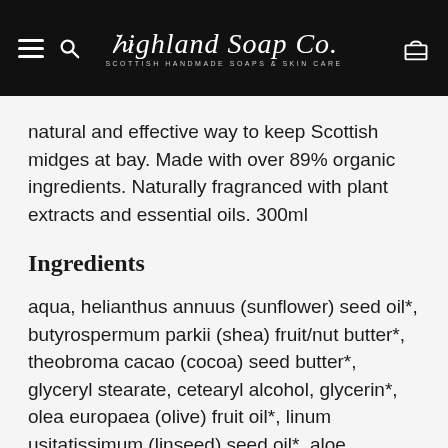[Figure (screenshot): Highland Soap Co. website header with black background, hamburger menu icon, search icon, Highland Soap Co. logo in cursive with tagline 'Scottish Handmade Soaps & Skin Care', and a shopping bag icon on the right.]
natural and effective way to keep Scottish midges at bay. Made with over 89% organic ingredients. Naturally fragranced with plant extracts and essential oils. 300ml
Ingredients
aqua, helianthus annuus (sunflower) seed oil*, butyrospermum parkii (shea) fruit/nut butter*, theobroma cacao (cocoa) seed butter*, glyceryl stearate, cetearyl alcohol, glycerin*, olea europaea (olive) fruit oil*, linum usitatissimum (linseed) seed oil*, aloe barbadensis (aloe vera) leaf juice*, myrica gale